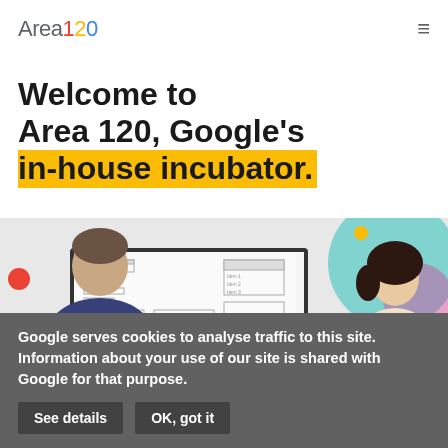Area 120 (logo) | hamburger menu icon
Welcome to Area 120, Google's in-house incubator.
[Figure (photo): Two people (one man in blue shirt seen from behind, one woman with dark hair) looking at a large monitor/whiteboard with wireframe sketches. Colorful decorative circles in the background (teal, red, yellow, pink). Red block in bottom left corner.]
Google serves cookies to analyse traffic to this site. Information about your use of our site is shared with Google for that purpose.
See details
OK, got it